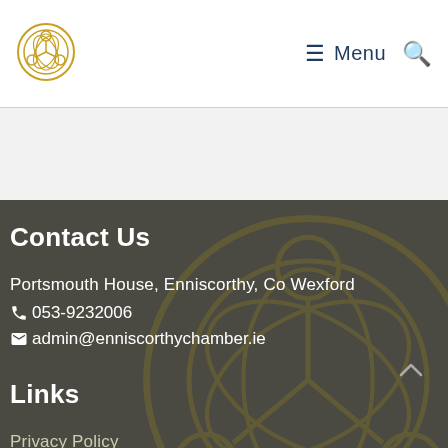[Figure (logo): Enniscorthy Chamber gold Celtic knot circular logo]
≡ Menu 🔍
Contact Us
Portsmouth House, Enniscorthy, Co Wexford
📞 053-9232006
✉ admin@enniscorthychamber.ie
Links
Privacy Policy
About the Chamber
InBusiness Q4 2017